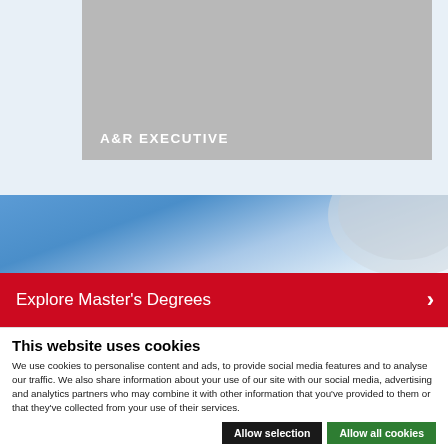[Figure (screenshot): Gray placeholder image card with white bold text label 'A&R EXECUTIVE' at bottom-left]
A&R EXECUTIVE
[Figure (photo): Blue sky and partial arc/dome image used as website banner background]
Explore Master's Degrees
This website uses cookies
We use cookies to personalise content and ads, to provide social media features and to analyse our traffic. We also share information about your use of our site with our social media, advertising and analytics partners who may combine it with other information that you've provided to them or that they've collected from your use of their services.
Allow selection
Allow all cookies
Necessary
Preferences
Statistics
Marketing
Show details